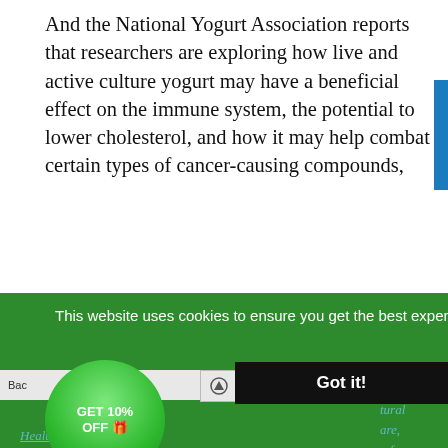And the National Yogurt Association reports that researchers are exploring how live and active culture yogurt may have a beneficial effect on the immune system, the potential to lower cholesterol, and how it may help combat certain types of cancer-causing compounds,
This website uses cookies to ensure you get the best experience on our website.
Got it!
GET 10% OFF 🎁
Health Resources list